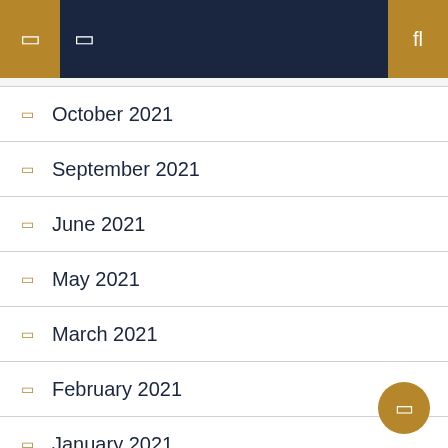Navigation header with icons
October 2021
September 2021
June 2021
May 2021
March 2021
February 2021
January 2021
October 2020
August 2020